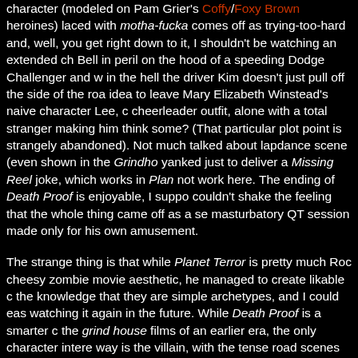character (modeled on Pam Grier's Coffy/Foxy Brown heroines) laced with motha-fucka comes off as trying-too-hard and, well, you get right down to it, I shouldn't be watching an extended ch Bell in peril on the hood of a speeding Dodge Challenger and w in the hell the driver Kim doesn't just pull off the side of the roa idea to leave Mary Elizabeth Winstead's naive character Lee, c cheerleader outfit, alone with a total stranger making him think some? (That particular plot point is strangely abandoned). Not much talked about lapdance scene (even shown in the Grindho yanked just to deliver a Missing Reel joke, which works in Plan not work here. The ending of Death Proof is enjoyable, I suppo couldn't shake the feeling that the whole thing came off as a se masturbatory QT session made only for his own amusement.
The strange thing is that while Planet Terror is pretty much Roc cheesy zombie movie aesthetic, he managed to create likable c the knowledge that they are simple archetypes, and I could eas watching it again in the future. While Death Proof is a smarter c the grind house films of an earlier era, the only character intere way is the villain, with the tense road scenes buried by an aval can't see myself going back to it, but I can see myself returning instead. I was afraid that the QT train was starting to run off the Bill movies. Death Proof just confirmed my suspicions. (At leas Snake Plissken got the eye patch). Now, if somebody actually m will be forgiven. (Update: All is forgiven – the actually made Ma